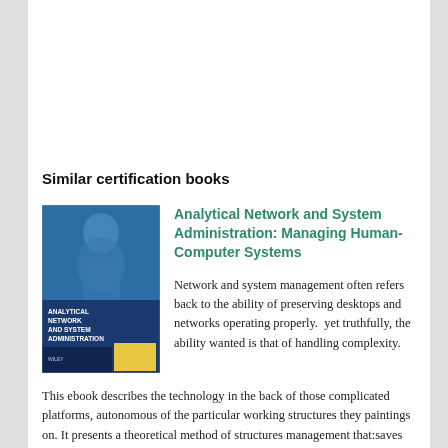Similar certification books
[Figure (illustration): Book cover for Analytical Network and System Administration: Managing Human-Computer Systems. Blue cover with a figure/statue image and yellow accent at bottom, with text 'ANALYTICAL NETWORK AND SYSTEM ADMINISTRATION' and publisher 'WILEY'.]
Analytical Network and System Administration: Managing Human-Computer Systems
Network and system management often refers back to the ability of preserving desktops and networks operating properly.  yet truthfully, the ability wanted is that of handling complexity.   This ebook describes the technology in the back of those complicated platforms, autonomous of the particular working structures they paintings on. It presents a theoretical method of structures management that:saves time in acting universal method